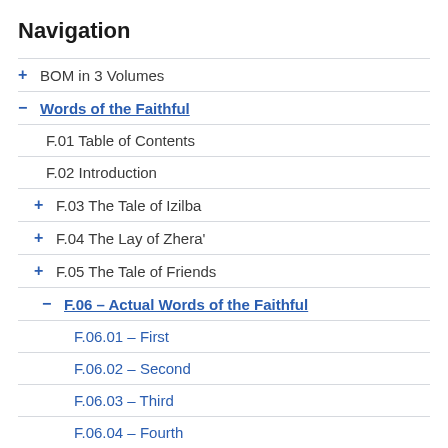Navigation
+ BOM in 3 Volumes
− Words of the Faithful
F.01 Table of Contents
F.02 Introduction
+ F.03 The Tale of Izilba
+ F.04 The Lay of Zhera'
+ F.05 The Tale of Friends
− F.06 – Actual Words of the Faithful
F.06.01 – First
F.06.02 – Second
F.06.03 – Third
F.06.04 – Fourth
F.06.05 – Fifth
F.06.06 – Sixth
F.06.07 – Seventh